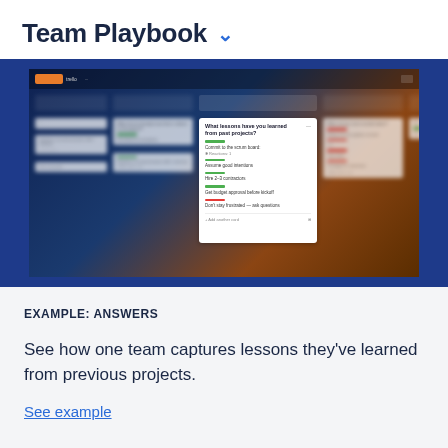Team Playbook
[Figure (screenshot): Trello board screenshot showing multiple columns with cards including 'What lessons have you learned from past projects?' with items: Commit to the scrum board (Reactions: 1), Assume good intentions, Hire 2-3 contractors, Get budget approval before kickoff, Don't stay frustrated - ask questions]
EXAMPLE: ANSWERS
See how one team captures lessons they've learned from previous projects.
See example